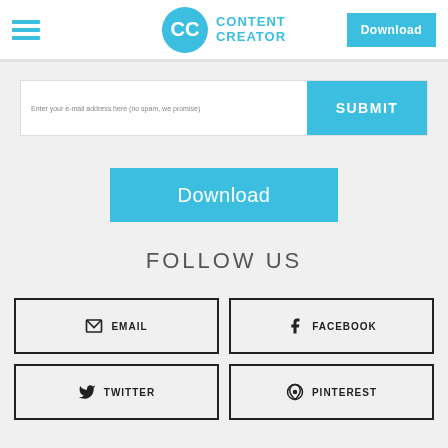Content Creator
Enter your e-mail address here (no spam, we promise)
SUBMIT
Download
FOLLOW US
EMAIL
FACEBOOK
TWITTER
PINTEREST